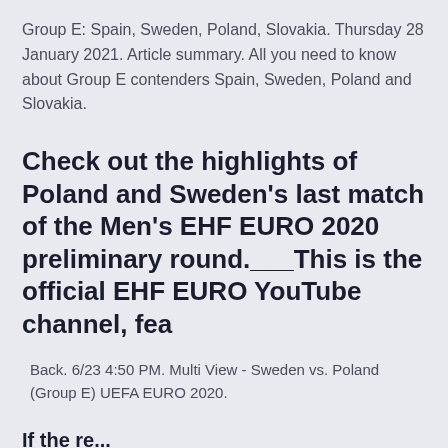Group E: Spain, Sweden, Poland, Slovakia. Thursday 28 January 2021. Article summary. All you need to know about Group E contenders Spain, Sweden, Poland and Slovakia.
Check out the highlights of Poland and Sweden's last match of the Men's EHF EURO 2020 preliminary round.___This is the official EHF EURO YouTube channel, fea
Back. 6/23 4:50 PM. Multi View - Sweden vs. Poland (Group E) UEFA EURO 2020.
If the re...